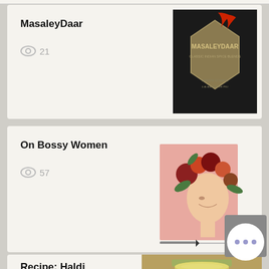MasaleyDaar
21
[Figure (photo): Dark book cover with gold geometric shape, red chili peppers, and text 'MASALEYDAAR Classic Indian Spice Blends']
On Bossy Women
57
[Figure (illustration): Artistic collage of a woman's profile with floral crown against pink background]
Recipe: Haldi Ksheerapaka / Turmeric Milk
126
[Figure (photo): Close-up of a glass mug with golden turmeric milk and spices around it]